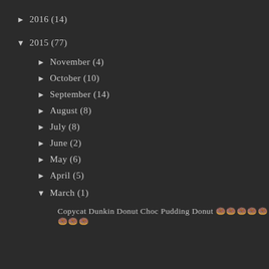► 2016 (14)
▼ 2015 (77)
► November (4)
► October (10)
► September (14)
► August (8)
► July (8)
► June (2)
► May (6)
► April (5)
▼ March (1)
Copycat Dunkin Donut Choc Pudding Donut 🍩🍩🍩🍩🍩🍩🍩🍩